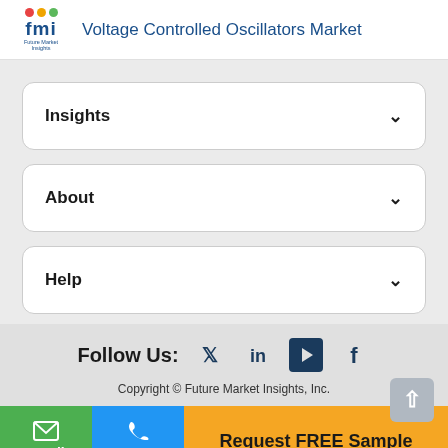Voltage Controlled Oscillators Market
Insights
About
Help
Follow Us:
Copyright © Future Market Insights, Inc.
Email
Call
Request FREE Sample